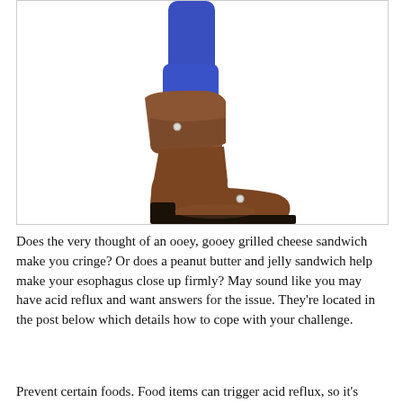[Figure (photo): A person's lower leg wearing blue leggings and a brown leather boot with fold-over cuff and silver stud detail, shown against a white background.]
Does the very thought of an ooey, gooey grilled cheese sandwich make you cringe? Or does a peanut butter and jelly sandwich help make your esophagus close up firmly? May sound like you may have acid reflux and want answers for the issue. They're located in the post below which details how to cope with your challenge.
Prevent certain foods. Food items can trigger acid reflux, so it's